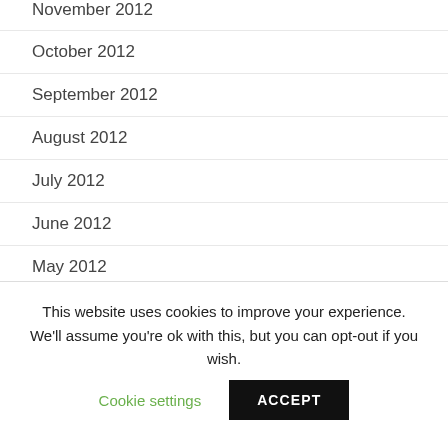November 2012
October 2012
September 2012
August 2012
July 2012
June 2012
May 2012
April 2012
March 2012
This website uses cookies to improve your experience. We'll assume you're ok with this, but you can opt-out if you wish.
Cookie settings
ACCEPT